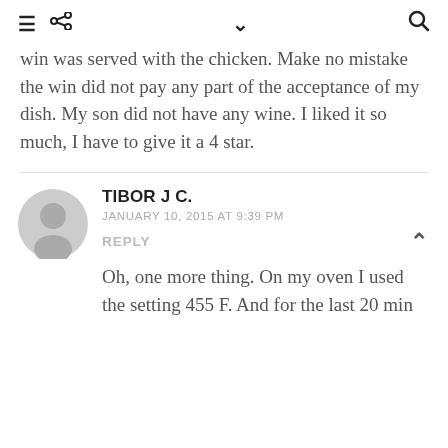≡  ⋖  ∨  Q
win was served with the chicken. Make no mistake the win did not pay any part of the acceptance of my dish. My son did not have any wine. I liked it so much, I have to give it a 4 star.
TIBOR J C.
JANUARY 10, 2015 AT 9:39 PM
REPLY
Oh, one more thing. On my oven I used the setting 455 F. And for the last 20 min